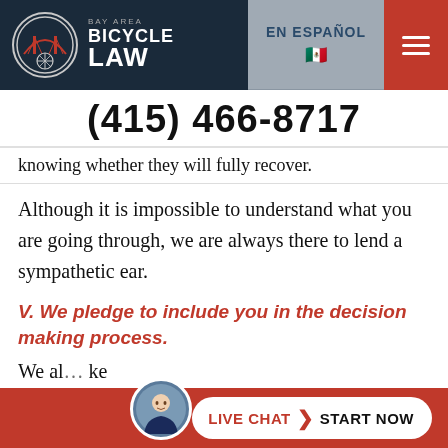[Figure (logo): Bay Area Bicycle Law logo with Golden Gate Bridge icon inside a circle, and navigation bar with EN ESPAÑOL link and hamburger menu]
(415) 466-8717
knowing whether they will fully recover.
Although it is impossible to understand what you are going through, we are always there to lend a sympathetic ear.
V. We pledge to include you in the decision making process.
We al... ke...